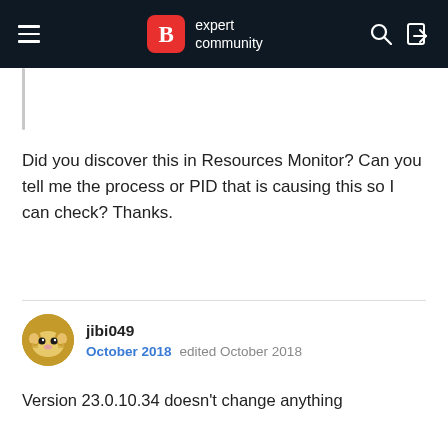B expert community
Did you discover this in Resources Monitor? Can you tell me the process or PID that is causing this so I can check? Thanks.
jibi049
October 2018   edited October 2018
Version 23.0.10.34 doesn't change anything
Edit : after an update, version is .31 : why?